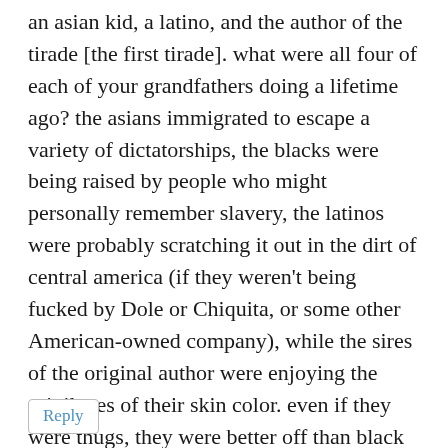an asian kid, a latino, and the author of the tirade [the first tirade]. what were all four of each of your grandfathers doing a lifetime ago? the asians immigrated to escape a variety of dictatorships, the blacks were being raised by people who might personally remember slavery, the latinos were probably scratching it out in the dirt of central america (if they weren't being fucked by Dole or Chiquita, or some other American-owned company), while the sires of the original author were enjoying the privileges of their skin color. even if they were thugs, they were better off than black thugs … and maybe better off than black businessmen.
Reply